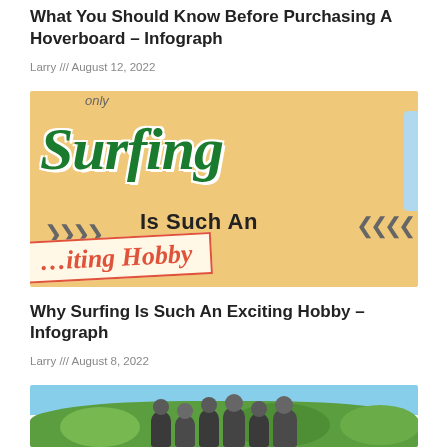What You Should Know Before Purchasing A Hoverboard – Infograph
Larry /// August 12, 2022
[Figure (infographic): Surfing infographic showing the text 'Surfing Is Such An Exciting Hobby' on an orange/yellow background with decorative arrows and a banner]
Why Surfing Is Such An Exciting Hobby – Infograph
Larry /// August 8, 2022
[Figure (photo): Outdoor photo showing a group of children or people in a park with trees in the background]